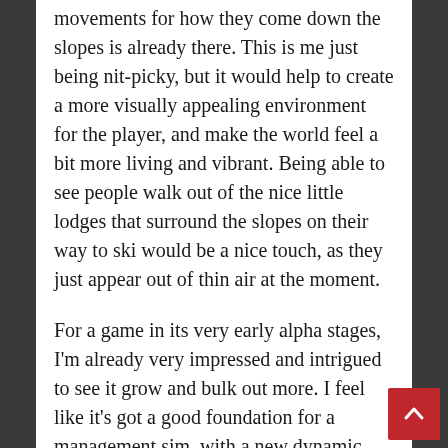movements for how they come down the slopes is already there. This is me just being nit-picky, but it would help to create a more visually appealing environment for the player, and make the world feel a bit more living and vibrant. Being able to see people walk out of the nice little lodges that surround the slopes on their way to ski would be a nice touch, as they just appear out of thin air at the moment.
For a game in its very early alpha stages, I'm already very impressed and intrigued to see it grow and bulk out more. I feel like it's got a good foundation for a management sim, with a new dynamic that I can't find anyone else having done previously. The animations may need a little work at the moment, but I have no doubts we'll see improvements over time, and everything else will most likely improve with it. I've already signed up for regular updates, as this is a game I will definitely want to throw my money at once